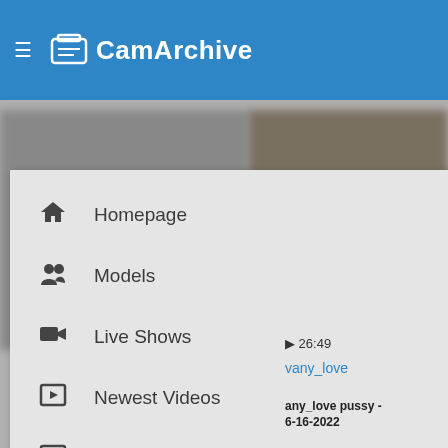CamArchive
Homepage
Models
Live Shows
Newest Videos
Popular Videos
Sign Up
26:49
vany_love
any_love pussy - 6-16-2022